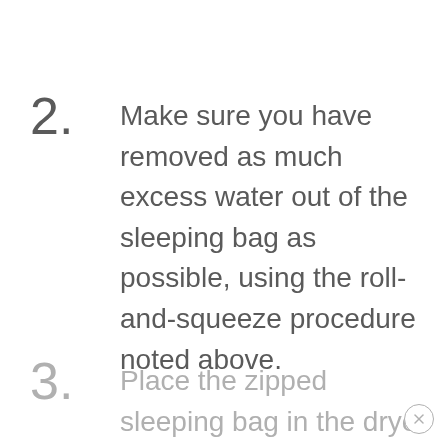2. Make sure you have removed as much excess water out of the sleeping bag as possible, using the roll-and-squeeze procedure noted above.
3. Place the zipped sleeping bag in the dryer on low heat